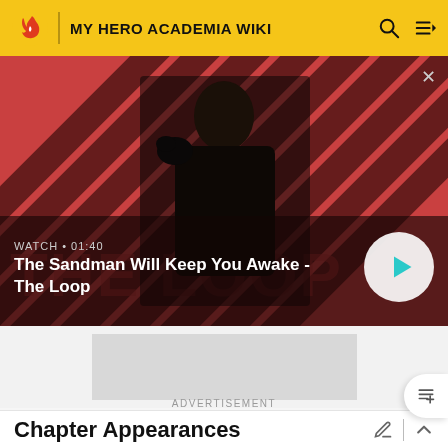MY HERO ACADEMIA WIKI
[Figure (screenshot): Video thumbnail for 'The Sandman Will Keep You Awake - The Loop' showing a dark-clothed figure with a crow on their shoulder against a red and black diagonal striped background. Shows WATCH • 01:40 label and a play button.]
ADVERTISEMENT
Chapter Appearances